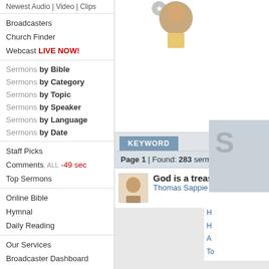Newest Audio | Video | Clips
Broadcasters
Church Finder
Webcast LIVE NOW!
Sermons by Bible
Sermons by Category
Sermons by Topic
Sermons by Speaker
Sermons by Language
Sermons by Date
Staff Picks
Comments, ALL -49 sec
Top Sermons
Online Bible
Hymnal
Daily Reading
Our Services
Broadcaster Dashboard
Members Only
[Figure (photo): Profile photo of a speaker, circular crop]
S
H
H
A
To
KEYWORD
Page 1 | Found: 283 sermons
God is a treasure hunt
Thomas Sappie
[Figure (photo): Small circular profile photo at bottom right]